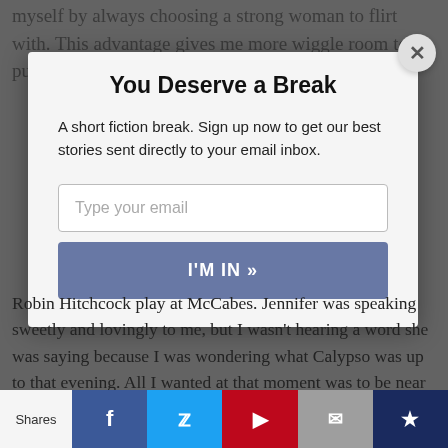myself by always choosing a strong woman to flirt with. This advantage gives me more wiggle room to push the boundar
You Deserve a Break
A short fiction break. Sign up now to get our best stories sent directly to your email inbox.
Type your email
I'M IN »
Robin Hitchcock play at McCabes. Jennifer was speaking sweetly and lovingly to me, but I wasn't hearing a word she was saying because I was wondering what Calypso was up to that evening. All I wanted at that moment was to be near her – Calypso – while my adoring wife stood before me, under the
Shares